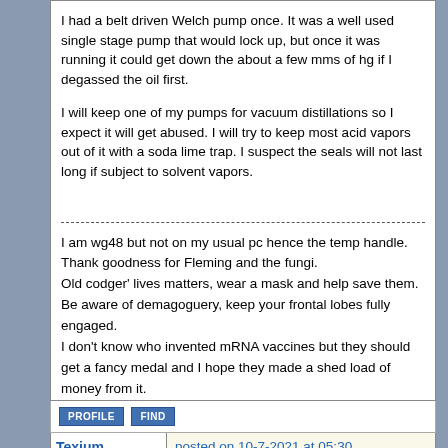I had a belt driven Welch pump once. It was a well used single stage pump that would lock up, but once it was running it could get down the about a few mms of hg if I degassed the oil first.

I will keep one of my pumps for vacuum distillations so I expect it will get abused. I will try to keep most acid vapors out of it with a soda lime trap. I suspect the seals will not last long if subject to solvent vapors.
I am wg48 but not on my usual pc hence the temp handle.
Thank goodness for Fleming and the fungi.
Old codger' lives matters, wear a mask and help save them.
Be aware of demagoguery, keep your frontal lobes fully engaged.
I don't know who invented mRNA vaccines but they should get a fancy medal and I hope they made a shed load of money from it.
PROFILE   FIND
Texium
Administrator
★★★★★★★
posted on 10-7-2021 at 05:30